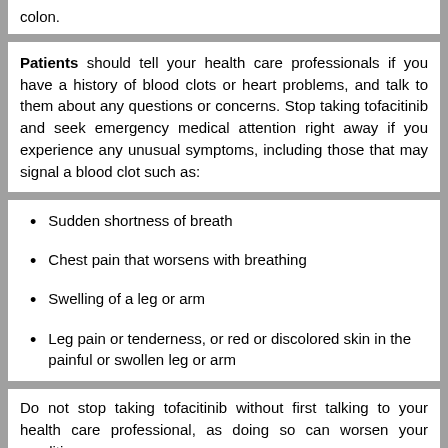colon.
Patients should tell your health care professionals if you have a history of blood clots or heart problems, and talk to them about any questions or concerns. Stop taking tofacitinib and seek emergency medical attention right away if you experience any unusual symptoms, including those that may signal a blood clot such as:
Sudden shortness of breath
Chest pain that worsens with breathing
Swelling of a leg or arm
Leg pain or tenderness, or red or discolored skin in the painful or swollen leg or arm
Do not stop taking tofacitinib without first talking to your health care professional, as doing so can worsen your condition.